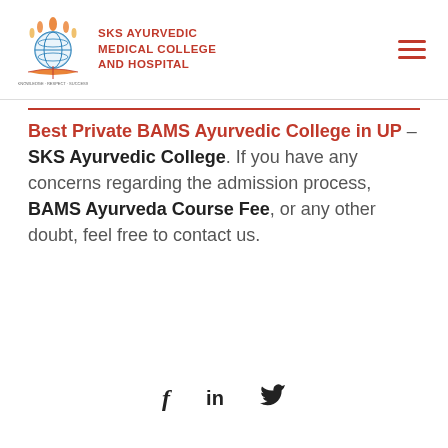[Figure (logo): SKS Ayurvedic Medical College and Hospital logo with globe and book illustration, college name in red bold uppercase text]
Best Private BAMS Ayurvedic College in UP – SKS Ayurvedic College. If you have any concerns regarding the admission process, BAMS Ayurveda Course Fee, or any other doubt, feel free to contact us.
[Figure (other): Social media share icons: Facebook (f), LinkedIn (in), Twitter (bird/y)]